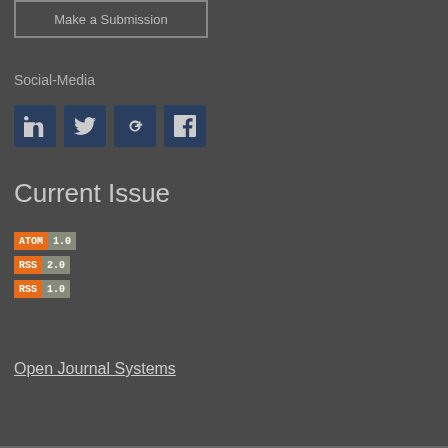Make a Submission
Social-Media
[Figure (infographic): Four social media icon buttons: LinkedIn, Twitter, Google+, Facebook — dark blue square buttons with white icons]
Current Issue
[Figure (infographic): Three feed badges: ATOM 1.0, RSS 2.0, RSS 1.0 — orange left label with grey-green right version number]
Open Journal Systems